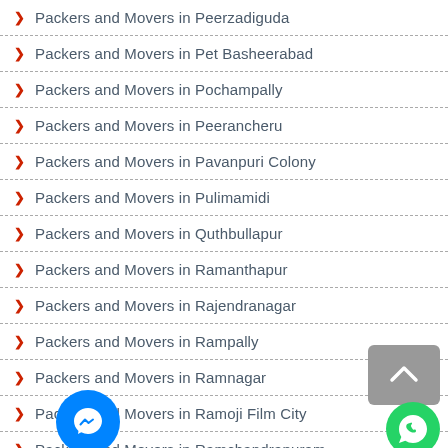Packers and Movers in Peerzadiguda
Packers and Movers in Pet Basheerabad
Packers and Movers in Pochampally
Packers and Movers in Peerancheru
Packers and Movers in Pavanpuri Colony
Packers and Movers in Pulimamidi
Packers and Movers in Quthbullapur
Packers and Movers in Ramanthapur
Packers and Movers in Rajendranagar
Packers and Movers in Rampally
Packers and Movers in Ramnagar
Packers and Movers in Ramoji Film City
Packers and Movers in Ramchandrapuram
Packers and Movers in Ramakrishnapuram